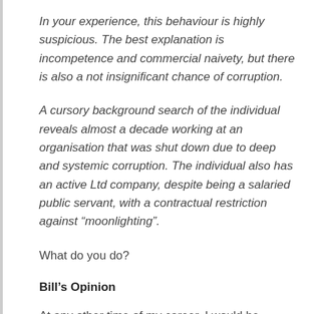In your experience, this behaviour is highly suspicious. The best explanation is incompetence and commercial naivety, but there is also a not insignificant chance of corruption.
A cursory background search of the individual reveals almost a decade working at an organisation that was shut down due to deep and systemic corruption. The individual also has an active Ltd company, despite being a salaried public servant, with a contractual restriction against “moonlighting”.
What do you do?
Bill’s Opinion
At any other time of my career, I would be gunning